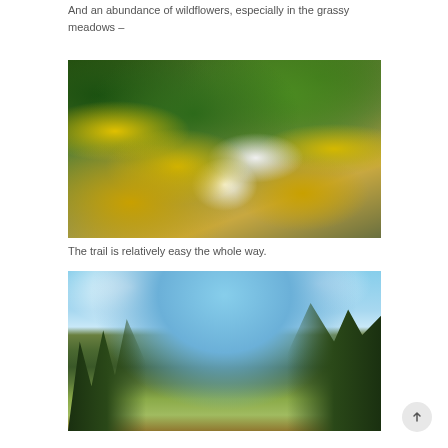And an abundance of wildflowers, especially in the grassy meadows –
[Figure (photo): Close-up photograph of wildflowers in a grassy meadow, showing yellow flowers and white daisy-like flowers among green vegetation]
The trail is relatively easy the whole way.
[Figure (photo): Panoramic photograph of a mountain trail with conifer trees on both sides, open meadow in the middle, blue sky with clouds, and forested hills in the background]